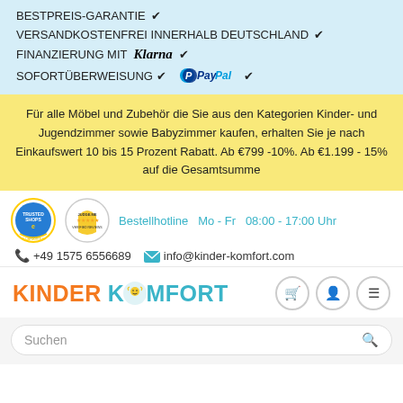BESTPREIS-GARANTIE ✔
VERSANDKOSTENFREI INNERHALB DEUTSCHLAND ✔
FINANZIERUNG MIT Klarna ✔
SOFORTÜBERWEISUNG ✔  PayPal ✔
Für alle Möbel und Zubehör die Sie aus den Kategorien Kinder- und Jugendzimmer sowie Babyzimmer kaufen, erhalten Sie je nach Einkaufswert 10 bis 15 Prozent Rabatt. Ab €799 -10%. Ab €1.199 - 15% auf die Gesamtsumme
Bestellhotline  Mo - Fr  08:00 - 17:00 Uhr
+49 1575 6556689  info@kinder-komfort.com
[Figure (logo): Kinder Komfort logo with orange KINDER and teal KOMFORT text with baby face icon]
Suchen